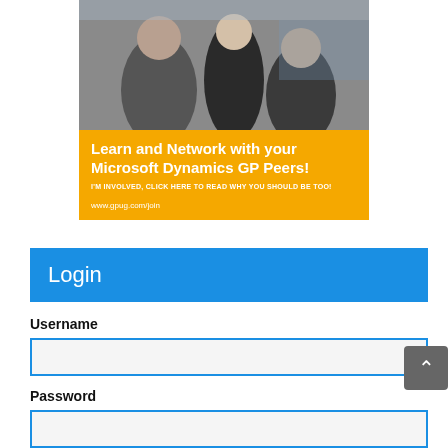[Figure (photo): A promotional banner image showing people networking at a conference (top photo portion) and a yellow section with text: 'Learn and Network with your Microsoft Dynamics GP Peers!' with subtext 'I'M INVOLVED, CLICK HERE TO READ WHY YOU SHOULD BE TOO!' and URL 'www.gpug.com/join']
Login
Username
Password